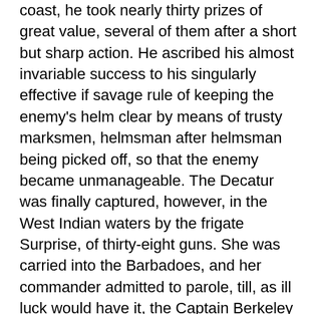coast, he took nearly thirty prizes of great value, several of them after a short but sharp action. He ascribed his almost invariable success to his singularly effective if savage rule of keeping the enemy's helm clear by means of trusty marksmen, helmsman after helmsman being picked off, so that the enemy became unmanageable. The Decatur was finally captured, however, in the West Indian waters by the frigate Surprise, of thirty-eight guns. She was carried into the Barbadoes, and her commander admitted to parole, till, as ill luck would have it, the Captain Berkeley who had taken him in the Alert put into port, and through his influence our old sea-dog was arrested, and confined, as Tamerlane confined Bajazet, in a seven-foot cage, and that, too, with a more than Oriental barbarity, . on the quarter-deck of a prison-ship, exposed to curious gaze, and under the fierce tropic sun. No sooner, though, was Captain Nichols released than he was up and at the enemy again, this time in the Harpy, in which in three weeks